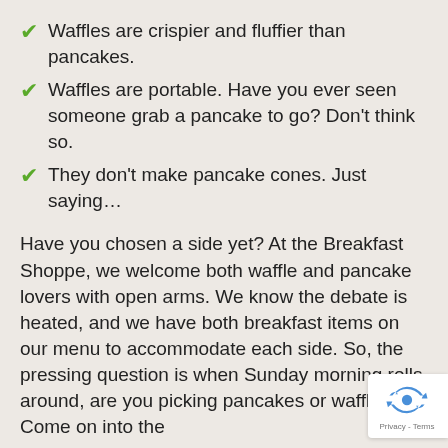Waffles are crispier and fluffier than pancakes.
Waffles are portable. Have you ever seen someone grab a pancake to go? Don't think so.
They don't make pancake cones. Just saying…
Have you chosen a side yet? At the Breakfast Shoppe, we welcome both waffle and pancake lovers with open arms. We know the debate is heated, and we have both breakfast items on our menu to accommodate each side. So, the pressing question is when Sunday morning rolls around, are you picking pancakes or waffles? Come on into the